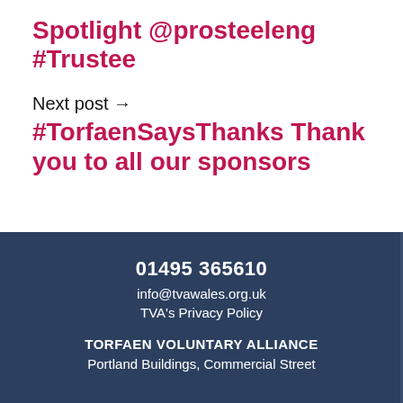Spotlight @prosteeleng #Trustee
Next post →
#TorfaenSaysThanks Thank you to all our sponsors
01495 365610
info@tvawales.org.uk
TVA's Privacy Policy
TORFAEN VOLUNTARY ALLIANCE
Portland Buildings, Commercial Street